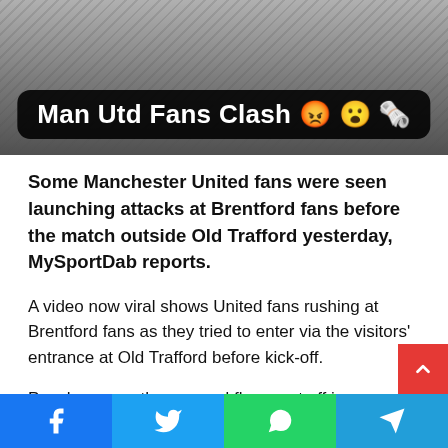[Figure (photo): Hero image showing blurry crowd/people scene with a black rounded rectangle overlay containing the title 'Man Utd Fans Clash' with angry face, surprised face, and newspaper emojis]
Man Utd Fans Clash 😡 😮 📰
Some Manchester United fans were seen launching attacks at Brentford fans before the match outside Old Trafford yesterday, MySportDab reports.
A video now viral shows United fans rushing at Brentford fans as they tried to enter via the visitors' entrance at Old Trafford before kick-off.
Punches were thrown, and flares set off in distasteful scenes for both club fans.
The frustration started from United fans disappointment in c…